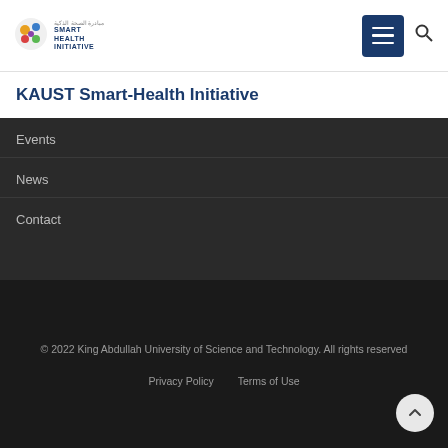[Figure (logo): KAUST Smart Health Initiative logo with colorful circular icon and text]
KAUST Smart-Health Initiative
Events
News
Contact
© 2022 King Abdullah University of Science and Technology. All rights reserved
Privacy Policy   Terms of Use